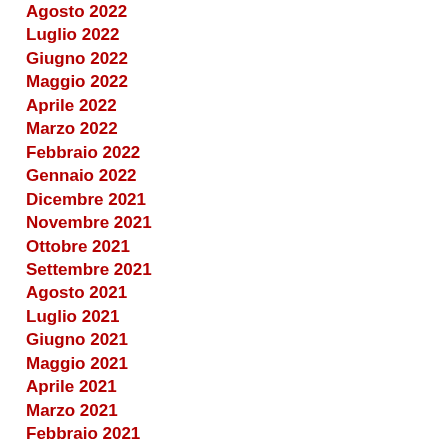Agosto 2022
Luglio 2022
Giugno 2022
Maggio 2022
Aprile 2022
Marzo 2022
Febbraio 2022
Gennaio 2022
Dicembre 2021
Novembre 2021
Ottobre 2021
Settembre 2021
Agosto 2021
Luglio 2021
Giugno 2021
Maggio 2021
Aprile 2021
Marzo 2021
Febbraio 2021
Gennaio 2021
Dicembre 2020
Novembre 2020
Ottobre 2020
Settembre 2020